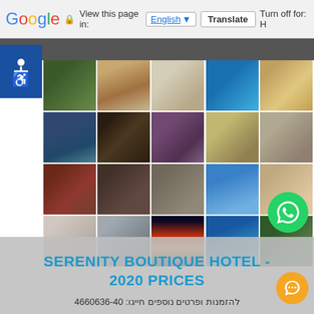Google  View this page in: English  Translate  Turn off for: H
[Figure (photo): Grid of hotel photos showing interior rooms, exterior views, landscape, sunset, and aerial views of Serenity Boutique Hotel]
SERENITY BOUTIQUE HOTEL - 2020 PRICES
להזמנות ופרטים נוספים חייגו: 04-6360664